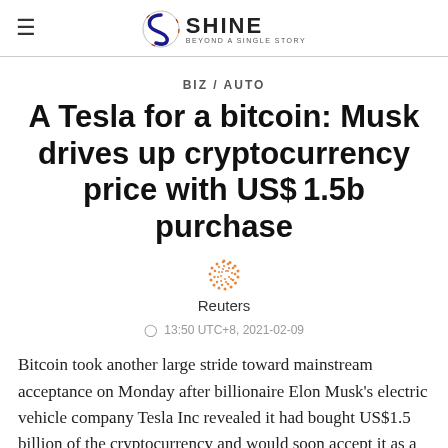SHINE BEYOND A SINGLE STORY
BIZ / AUTO
A Tesla for a bitcoin: Musk drives up cryptocurrency price with US$1.5b purchase
[Figure (logo): Reuters orange dot logo icon]
Reuters
13:50 UTC+8, 2021-02-09
Bitcoin took another large stride toward mainstream acceptance on Monday after billionaire Elon Musk's electric vehicle company Tesla Inc revealed it had bought US$1.5 billion of the cryptocurrency and would soon accept it as a form of payment for cars, sending the